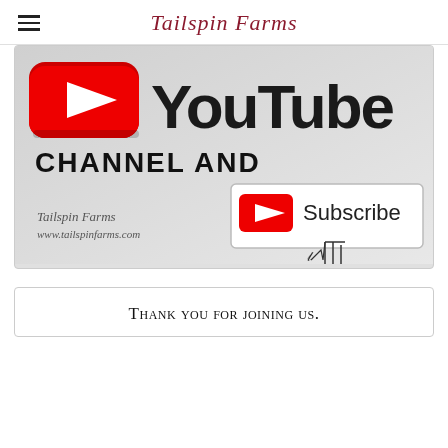Tailspin Farms
[Figure (screenshot): YouTube channel promotional image with YouTube logo (red play button icon + bold 'YouTube' text), text 'CHANNEL AND', a Subscribe button with cursor icon, and Tailspin Farms branding text 'www.tailspinfarms.com']
Thank you for joining us.